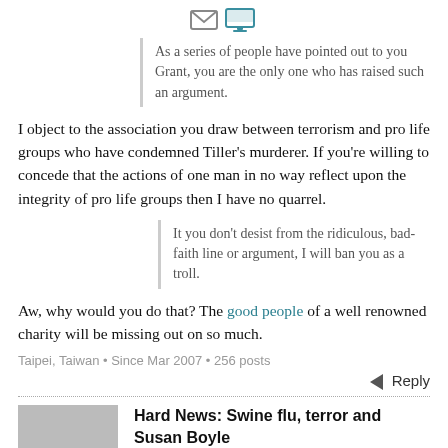[Figure (other): Small email and monitor icons at top center]
As a series of people have pointed out to you Grant, you are the only one who has raised such an argument.
I object to the association you draw between terrorism and pro life groups who have condemned Tiller's murderer. If you're willing to concede that the actions of one man in no way reflect upon the integrity of pro life groups then I have no quarrel.
It you don't desist from the ridiculous, bad-faith line or argument, I will ban you as a troll.
Aw, why would you do that? The good people of a well renowned charity will be missing out on so much.
Taipei, Taiwan • Since Mar 2007 • 256 posts
Reply
Hard News: Swine flu, terror and Susan Boyle, 13 years ago